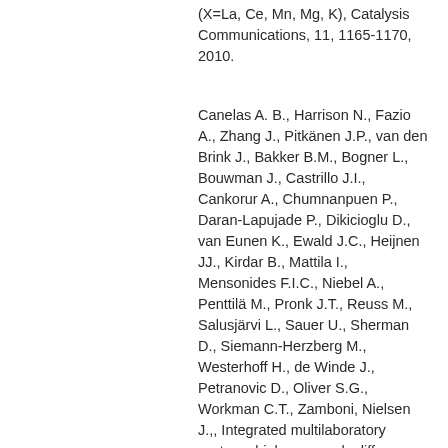(X=La, Ce, Mn, Mg, K), Catalysis Communications, 11, 1165-1170, 2010.
Canelas A. B., Harrison N., Fazio A., Zhang J., Pitkänen J.P., van den Brink J., Bakker B.M., Bogner L., Bouwman J., Castrillo J.I., Cankorur A., Chumnanpuen P., Daran-Lapujade P., Dikicioglu D., van Eunen K., Ewald J.C., Heijnen JJ., Kirdar B., Mattila I., Mensonides F.I.C., Niebel A., Penttilä M., Pronk J.T., Reuss M., Salusjärvi L., Sauer U., Sherman D., Siemann-Herzberg M., Westerhoff H., de Winde J., Petranovic D., Oliver S.G., Workman C.T., Zamboni, Nielsen J.,, Integrated multilaboratory systems biology reveals differences in protein metabolism between two